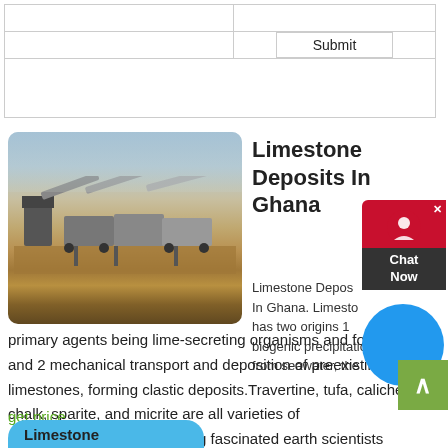|  |  |
|  | Submit |
[Figure (photo): Industrial limestone crushing/mining machinery in an open sandy area, with conveyor belts and processing equipment under a hazy sky.]
Limestone Deposits In Ghana
Limestone Deposits In Ghana. Limestone has two origins 1 biogenic precipitation from seawater, the primary agents being lime-secreting organisms and foram and 2 mechanical transport and deposition of preexisting limestones, forming clastic deposits.Travertine, tufa, caliche, chalk, sparite, and micrite are all varieties of limestone.Limestone has long fascinated earth scientists because
get price
Limestone